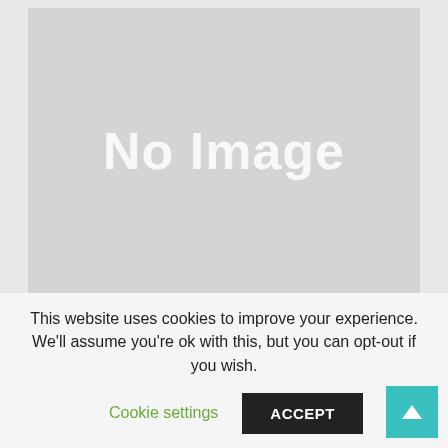[Figure (other): Placeholder image with 'No Image' text on grey background]
Alex Glanville
This website uses cookies to improve your experience. We'll assume you're ok with this, but you can opt-out if you wish.
Cookie settings
ACCEPT